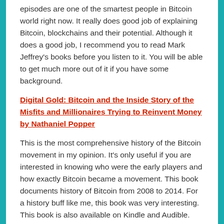episodes are one of the smartest people in Bitcoin world right now. It really does good job of explaining Bitcoin, blockchains and their potential. Although it does a good job, I recommend you to read Mark Jeffrey's books before you listen to it. You will be able to get much more out of it if you have some background.
Digital Gold: Bitcoin and the Inside Story of the Misfits and Millionaires Trying to Reinvent Money by Nathaniel Popper
This is the most comprehensive history of the Bitcoin movement in my opinion. It's only useful if you are interested in knowing who were the early players and how exactly Bitcoin became a movement. This book documents history of Bitcoin from 2008 to 2014. For a history buff like me, this book was very interesting. This book is also available on Kindle and Audible.
Banking with Bitcoin – A Documentary on Netflix
This is a video documentary. It doesn't explain blockchain in detail. It simplifies it a lot. I wouldn't watch this to understand blockchain technology. We more in line with Nathaniel Popper's book. It